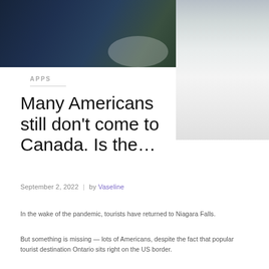[Figure (photo): Top portion of a photo showing what appears to be food on dark plates on the left, and a person wearing a white garment on the right.]
APPS
Many Americans still don't come to Canada. Is the…
September 2, 2022  |  by Vaseline
In the wake of the pandemic, tourists have returned to Niagara Falls.
But something is missing — lots of Americans, despite the fact that popular tourist destination Ontario sits right on the US border.